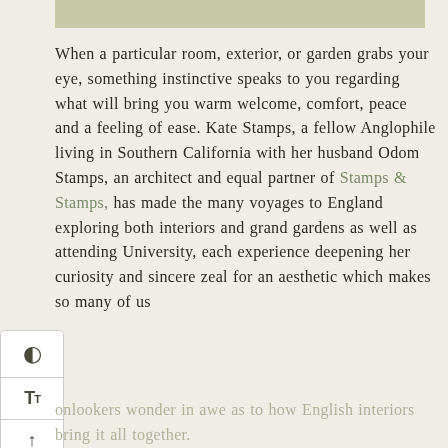[Figure (other): A rectangular image or colored block in muted sage/olive green at the top of the page]
When a particular room, exterior, or garden grabs your eye, something instinctive speaks to you regarding what will bring you warm welcome, comfort, peace and a feeling of ease. Kate Stamps, a fellow Anglophile living in Southern California with her husband Odom Stamps, an architect and equal partner of Stamps & Stamps, has made the many voyages to England exploring both interiors and grand gardens as well as attending University, each experience deepening her curiosity and sincere zeal for an aesthetic which makes so many of us onlookers wonder in awe as to how English interiors bring it all together.